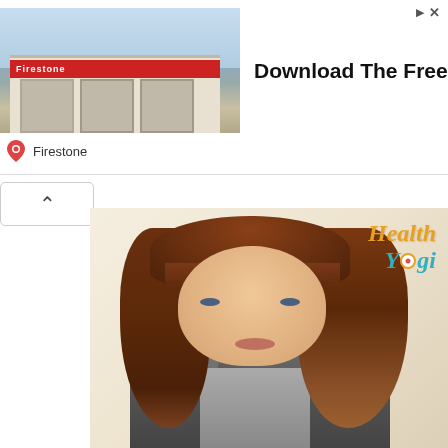[Figure (screenshot): Advertisement banner for Firestone showing a store building photo on the left with text 'Download The Free App' and a red 'Download' button on the right. Firestone logo and name shown below the store image.]
[Figure (photo): Photo of a woman with long auburn/brown wavy hair and bangs wearing a grey leather jacket. She is looking directly at the camera against a light beige background. Health Yogi logo appears in the upper right of the image.]